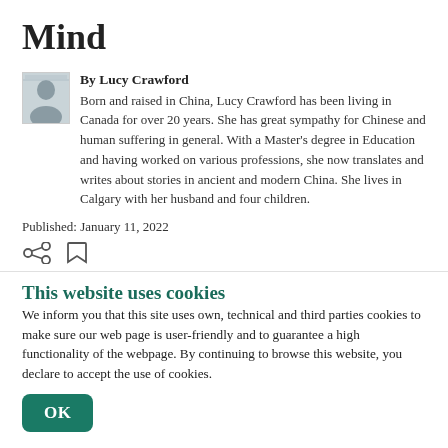Mind
By Lucy Crawford
Born and raised in China, Lucy Crawford has been living in Canada for over 20 years. She has great sympathy for Chinese and human suffering in general. With a Master's degree in Education and having worked on various professions, she now translates and writes about stories in ancient and modern China. She lives in Calgary with her husband and four children.
Published: January 11, 2022
[Figure (illustration): Social sharing icons (share and bookmark)]
This website uses cookies
We inform you that this site uses own, technical and third parties cookies to make sure our web page is user-friendly and to guarantee a high functionality of the webpage. By continuing to browse this website, you declare to accept the use of cookies.
OK